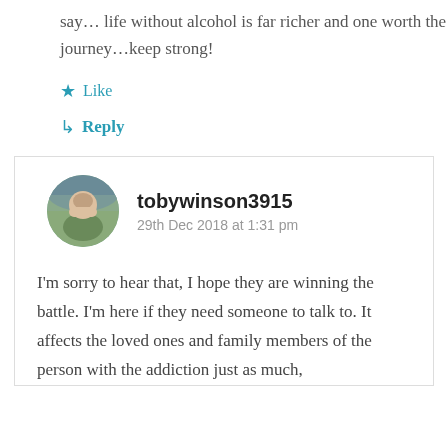say… life without alcohol is far richer and one worth the journey…keep strong!
★ Like
↳ Reply
tobywinson3915
29th Dec 2018 at 1:31 pm
I'm sorry to hear that, I hope they are winning the battle. I'm here if they need someone to talk to. It affects the loved ones and family members of the person with the addiction just as much,